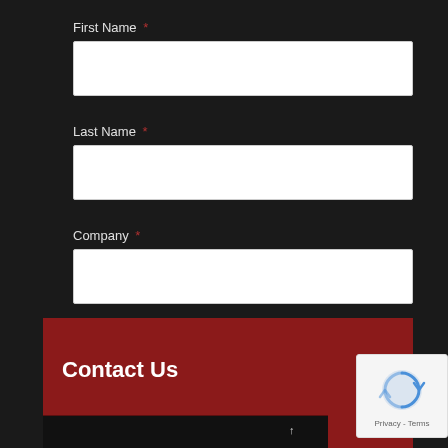First Name *
[Figure (screenshot): Empty text input field for First Name]
Last Name *
[Figure (screenshot): Empty text input field for Last Name]
Company *
[Figure (screenshot): Empty text input field for Company]
Subscribe
Contact Us
[Figure (logo): reCAPTCHA badge with Privacy - Terms text]